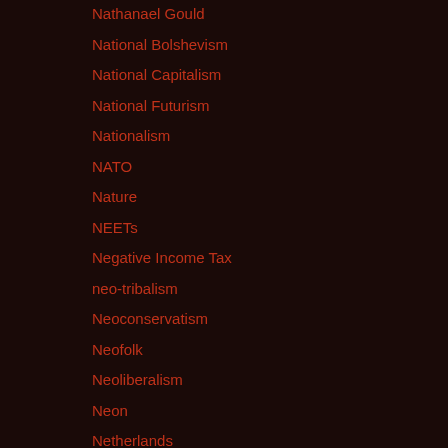Nathanael Gould
National Bolshevism
National Capitalism
National Futurism
Nationalism
NATO
Nature
NEETs
Negative Income Tax
neo-tribalism
Neoconservatism
Neofolk
Neoliberalism
Neon
Netherlands